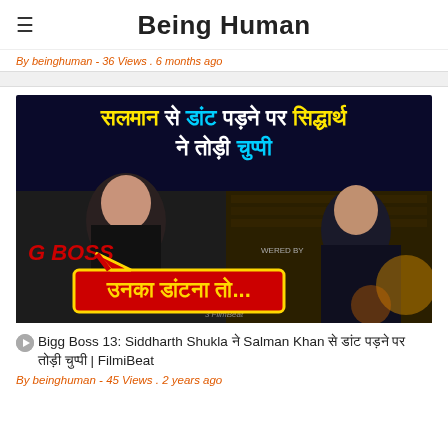Being Human
By beinghuman - 36 Views . 6 months ago
[Figure (screenshot): Thumbnail image for Bigg Boss 13 video showing Siddharth Shukla and Salman Khan with Hindi text. Top banner reads: सलमान से डांट पड़ने पर सिद्धार्थ ने तोड़ी चुप्पी. Bottom red banner reads: उनका डांटना तो...]
Bigg Boss 13: Siddharth Shukla ने Salman Khan से डांट पड़ने पर तोड़ी चुप्पी | FilmiBeat
By beinghuman - 45 Views . 2 years ago